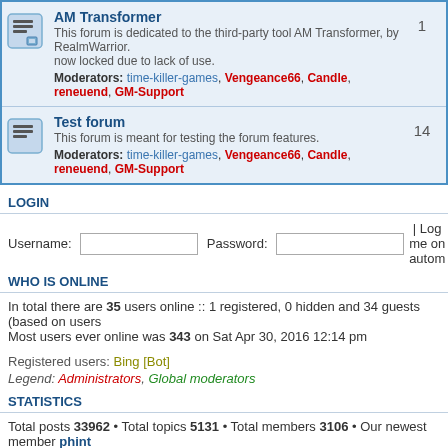| Forum | Count |
| --- | --- |
| AM Transformer — This forum is dedicated to the third-party tool AM Transformer, by RealmWarrior.
now locked due to lack of use.
Moderators: time-killer-games, Vengeance66, Candle, reneuend, GM-Support | 1 |
| Test forum — This forum is meant for testing the forum features.
Moderators: time-killer-games, Vengeance66, Candle, reneuend, GM-Support | 14 |
LOGIN
Username: [input] Password: [input] | Log me on autom
WHO IS ONLINE
In total there are 35 users online :: 1 registered, 0 hidden and 34 guests (based on users
Most users ever online was 343 on Sat Apr 30, 2016 12:14 pm
Registered users: Bing [Bot]
Legend: Administrators, Global moderators
STATISTICS
Total posts 33962 • Total topics 5131 • Total members 3106 • Our newest member phint
Board index   The team • Delete all   Powered by phpBB® Forum Software © phpBB Gr